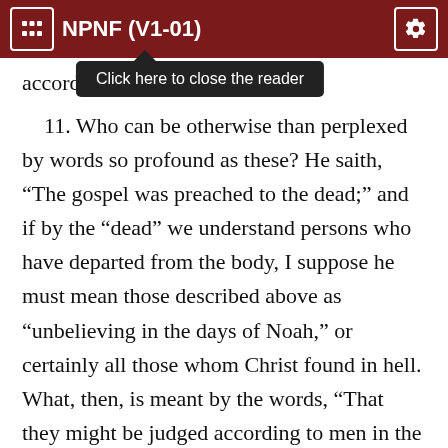NPNF (V1-01)
[Figure (screenshot): Tooltip overlay saying 'Click here to close the reader' with dark background and upward arrow]
according to [partial line cut off by tooltip]
11. Who can be otherwise than perplexed by words so profound as these? He saith, “The gospel was preached to the dead;” and if by the “dead” we understand persons who have departed from the body, I suppose he must mean those described above as “unbelieving in the days of Noah,” or certainly all those whom Christ found in hell. What, then, is meant by the words, “That they might be judged according to men in the flesh, but live according to God in the spirit”? For how can they be judged in the flesh, which if they be in hell they